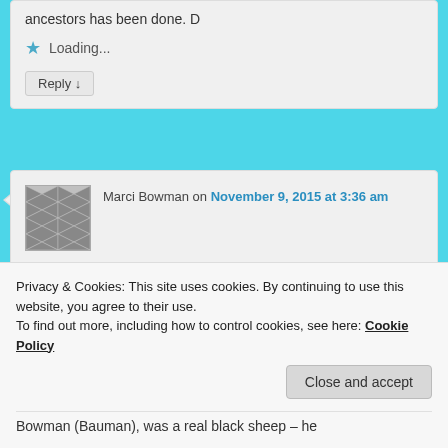ancestors has been done. D
Loading...
Reply ↓
Marci Bowman on November 9, 2015 at 3:36 am
said:
Thank you SOOO much for this lovely gift Cousin
Privacy & Cookies: This site uses cookies. By continuing to use this website, you agree to their use. To find out more, including how to control cookies, see here: Cookie Policy
Close and accept
Bowman (Bauman), was a real black sheep – he